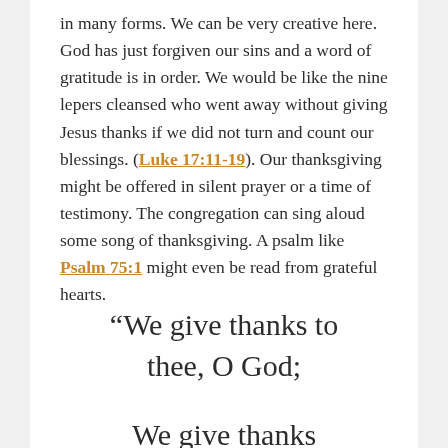in many forms. We can be very creative here. God has just forgiven our sins and a word of gratitude is in order. We would be like the nine lepers cleansed who went away without giving Jesus thanks if we did not turn and count our blessings. (Luke 17:11-19). Our thanksgiving might be offered in silent prayer or a time of testimony. The congregation can sing aloud some song of thanksgiving. A psalm like Psalm 75:1 might even be read from grateful hearts.
“We give thanks to thee, O God;
We give thanks